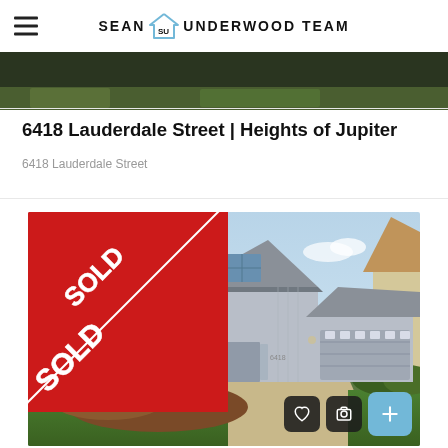Sean SU Underwood Team
[Figure (photo): Partial cropped photo of green lawn/exterior at top of page]
6418 Lauderdale Street | Heights of Jupiter
6418 Lauderdale Street
[Figure (photo): Front exterior photo of a two-story house with gray siding and a two-car garage, with a red diagonal SOLD banner in the upper left corner. Lush tropical landscaping in the foreground with green lawn.]